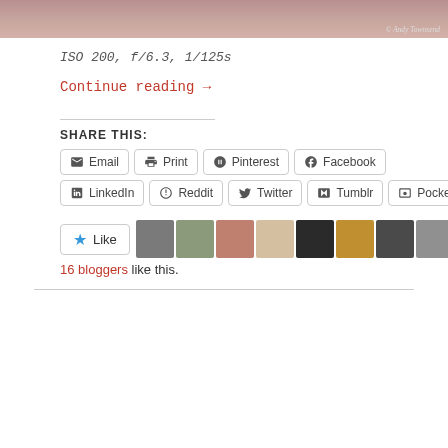[Figure (photo): Close-up photo strip at top of page with photo credit '© Andy Townsend']
ISO 200, f/6.3, 1/125s
Continue reading →
SHARE THIS:
Email
Print
Pinterest
Facebook
LinkedIn
Reddit
Twitter
Tumblr
Pocket
16 bloggers like this.